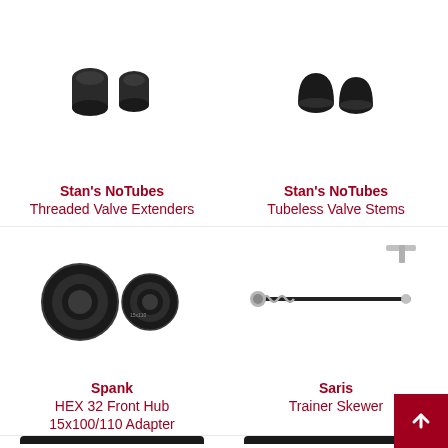[Figure (photo): Stan's NoTubes Threaded Valve Extenders product photo - two black cylindrical extenders]
Stan's NoTubes
Threaded Valve Extenders
[Figure (photo): Stan's NoTubes Tubeless Valve Stems product photo - two black rubber caps/stems]
Stan's NoTubes
Tubeless Valve Stems
[Figure (photo): Spank HEX 32 Front Hub 15x100/110 Adapter - two black metal hub adapters]
Spank
HEX 32 Front Hub
15x100/110 Adapter
[Figure (photo): Saris Trainer Skewer - a long metal skewer/axle with T-handle and spring]
Saris
Trainer Skewer
[Figure (photo): Partial view of bottom-left product]
[Figure (photo): Partial view of bottom-right product]